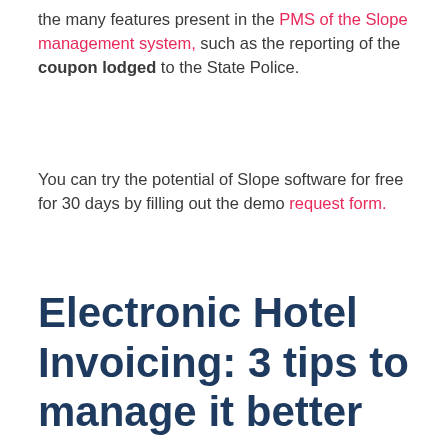the many features present in the PMS of the Slope management system, such as the reporting of the coupon lodged to the State Police.
You can try the potential of Slope software for free for 30 days by filling out the demo request form.
Electronic Hotel Invoicing: 3 tips to manage it better